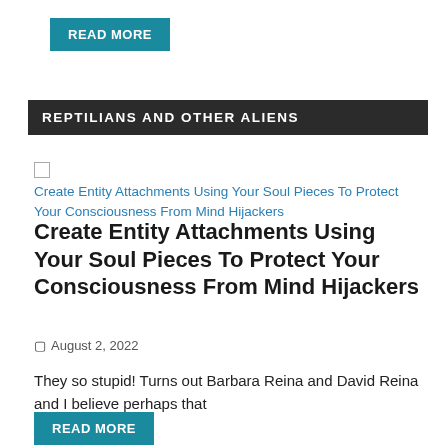READ MORE
REPTILIANS AND OTHER ALIENS
[Figure (other): Broken image icon followed by link text: Create Entity Attachments Using Your Soul Pieces To Protect Your Consciousness From Mind Hijackers]
Create Entity Attachments Using Your Soul Pieces To Protect Your Consciousness From Mind Hijackers
August 2, 2022
They so stupid! Turns out Barbara Reina and David Reina and I believe perhaps that
READ MORE